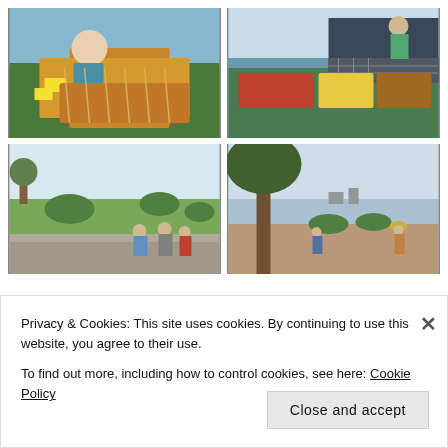[Figure (photo): Street food market stall with skewered foods on display, vendor in white hat visible in background]
[Figure (photo): Outdoor market with grilled meats, seafood, and fruits laid out on a table with a grill]
[Figure (photo): Park scene with people sitting on steps/ledge, green lawn and trees in background]
[Figure (photo): Riverside park with tree in foreground, river and city in background, person in conical hat]
[Figure (photo): Partial view of colorful food items on a table]
Privacy & Cookies: This site uses cookies. By continuing to use this website, you agree to their use.
To find out more, including how to control cookies, see here: Cookie Policy